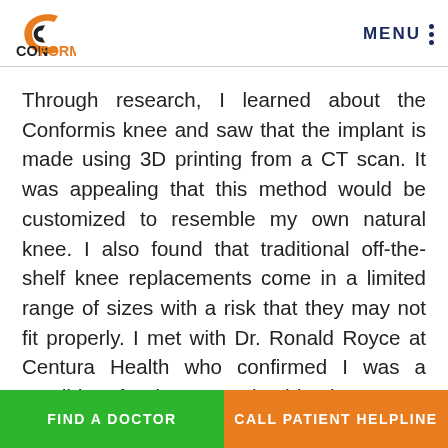[Figure (logo): Conformis logo with orange C icon and black/orange text 'CONFORMIS']
Through research, I learned about the Conformis knee and saw that the implant is made using 3D printing from a CT scan. It was appealing that this method would be customized to resemble my own natural knee. I also found that traditional off-the-shelf knee replacements come in a limited range of sizes with a risk that they may not fit properly. I met with Dr. Ronald Royce at Centura Health who confirmed I was a candidate for the customized implant. I was thrilled.
FIND A DOCTOR
CALL PATIENT HELPLINE